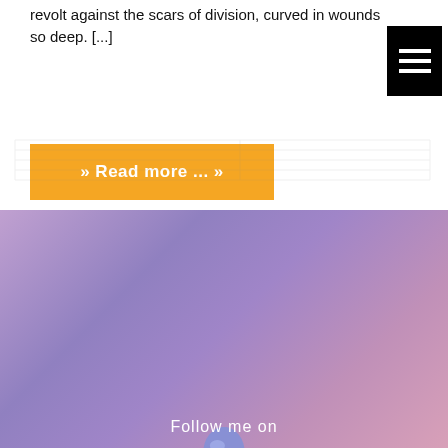revolt against the scars of division, curved in wounds so deep. [...]
[Figure (other): Hamburger menu icon (three white horizontal lines on black background)]
» Read more ... »
[Figure (illustration): A decorative mandala/flower-of-life ornament rendered in gold beads with white petal sections and a green gemstone center, appearing to sit atop a water droplet ripple on a purple-pink gradient background]
Follow me on